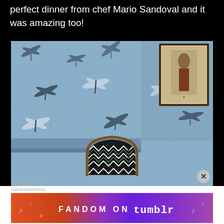perfect dinner from chef Mario Sandoval and it was amazing too!
[Figure (photo): Interior restaurant photo showing decorative tiled wall with dragonfly/bamboo pattern in blue-grey tones, a framed classical painting on the right wall, and an ornate chair with zigzag patterned upholstery in the foreground]
Advertisements
[Figure (screenshot): Tumblr advertisement banner reading FANDOM ON tumblr with colorful gradient background]